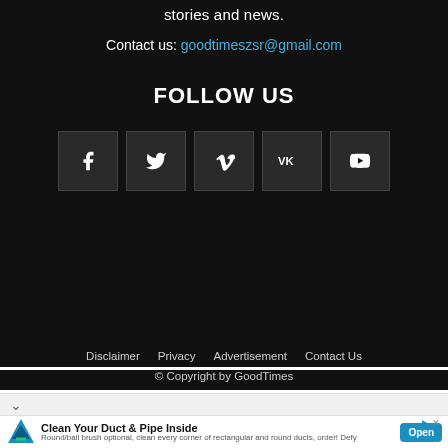stories and news.
Contact us: goodtimeszsr@gmail.com
FOLLOW US
[Figure (infographic): Five social media icon buttons in dark boxes: Facebook (f), Twitter (bird), Vimeo (V), VKontakte (VK), YouTube (play button)]
Disclaimer   Privacy   Advertisement   Contact Us
© Copyright by GoodTimes
Clean Your Duct & Pipe Inside
Round/ball brush optional, clean every corner of rectangular and round ducts, order! Defy